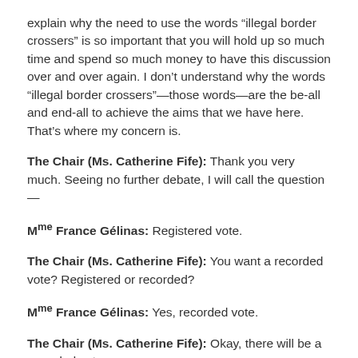explain why the need to use the words “illegal border crossers” is so important that you will hold up so much time and spend so much money to have this discussion over and over again. I don’t understand why the words “illegal border crossers”—those words—are the be-all and end-all to achieve the aims that we have here. That’s where my concern is.
The Chair (Ms. Catherine Fife): Thank you very much. Seeing no further debate, I will call the question—
Mme France Gélinas: Registered vote.
The Chair (Ms. Catherine Fife): You want a recorded vote? Registered or recorded?
Mme France Gélinas: Yes, recorded vote.
The Chair (Ms. Catherine Fife): Okay, there will be a recorded vote.